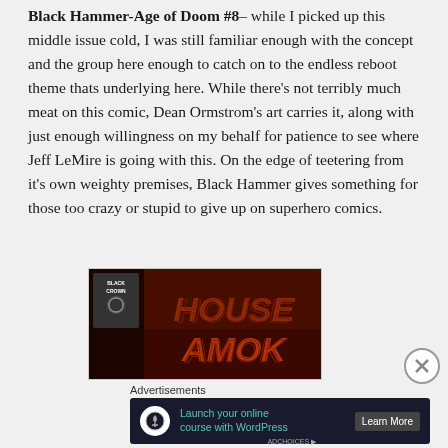Black Hammer-Age of Doom #8– while I picked up this middle issue cold, I was still familiar enough with the concept and the group here enough to catch on to the endless reboot theme thats underlying here. While there's not terribly much meat on this comic, Dean Ormstrom's art carries it, along with just enough willingness on my behalf for patience to see where Jeff LeMire is going with this. On the edge of teetering from it's own weighty premises, Black Hammer gives something for those too crazy or stupid to give up on superhero comics.
[Figure (photo): Comic book cover image showing 'House Amok' title in large red/orange stylized text on a dark background, with a Black Crown label visible]
Advertisements
[Figure (screenshot): Advertisement banner: 'Launch your online course with WordPress' with a Learn More button on a dark navy background]